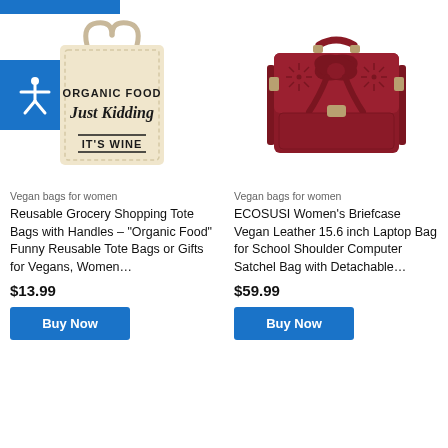[Figure (photo): Blue top navigation bar partial]
[Figure (photo): Accessibility icon (person with arms out) on blue square background]
[Figure (photo): Cream canvas tote bag with text 'ORGANIC FOOD Just Kidding IT'S WINE']
Vegan bags for women
Reusable Grocery Shopping Tote Bags with Handles – "Organic Food" Funny Reusable Tote Bags or Gifts for Vegans, Women…
$13.99
Buy Now
[Figure (photo): Dark red/burgundy leather satchel briefcase with bow detail and cutout pattern]
Vegan bags for women
ECOSUSI Women's Briefcase Vegan Leather 15.6 inch Laptop Bag for School Shoulder Computer Satchel Bag with Detachable…
$59.99
Buy Now